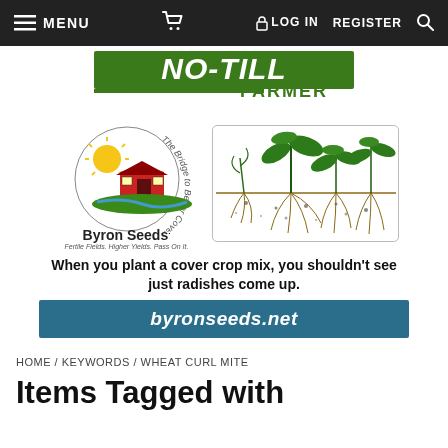MENU | (cart) | LOG IN | REGISTER | (search)
[Figure (logo): No-Till Farmer logo - The No-Till Authority Since 1972]
[Figure (illustration): Byron Seeds advertisement with barn logo, cover crop illustration, tagline 'When you plant a cover crop mix, you shouldn't see just radishes come up.' and URL byronseeds.net]
HOME / KEYWORDS / WHEAT CURL MITE
Items Tagged with